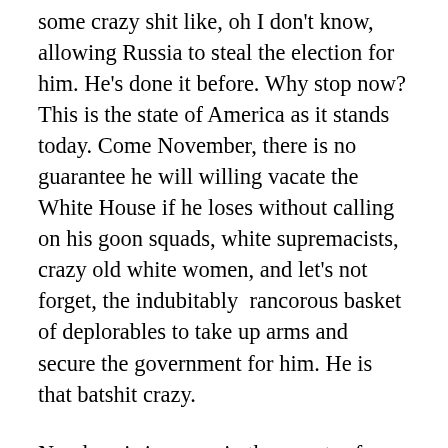some crazy shit like, oh I don't know, allowing Russia to steal the election for him. He's done it before. Why stop now? This is the state of America as it stands today. Come November, there is no guarantee he will willing vacate the White House if he loses without calling on his goon squads, white supremacists, crazy old white women, and let's not forget, the indubitably  rancorous basket of deplorables to take up arms and secure the government for him. He is that batshit crazy.
No place is immune in the country from the lunacy spreading across the nation. I live in a relatively small city in Nevada. Normally, Carson City is a happy, energetic place where the dregs of the old west makes reality a little bit bigger than life. There is an online chat group called something like Neighbors where people can post notes like Stray Dog Seen Running Free on Sierra